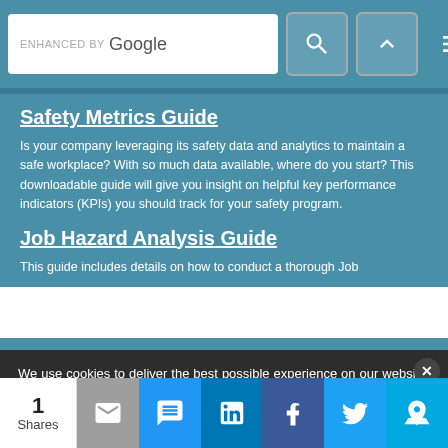ENHANCED BY Google [search bar with icons]
Safety Metrics Guide
Is your company leveraging its safety data and analytics to maintain a safe workplace? With so much data available, where do you start? This downloadable guide will give you insight on helpful key performance indicators (KPIs) you should track for your safety program.
Job Hazard Analysis Guide
This guide includes details on how to conduct a thorough Job
We use cookies to deliver the best possible experience on our website. By continuing to use this site, accepting or closing this box, you consent to our use of cookies. To learn more, visit our privacy policy.
1 Shares [email] [SMS] [LinkedIn] [Facebook] [Twitter] [crown]